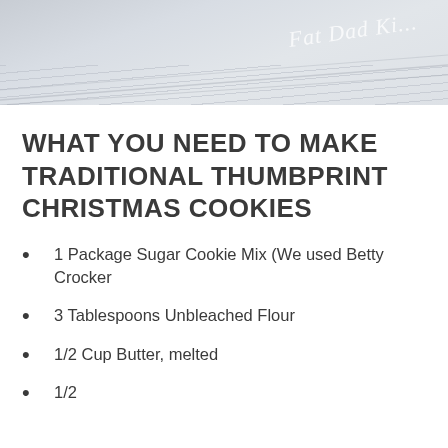[Figure (photo): Cropped photo with light gray/white wood background and script text overlay reading 'Fat Dad Ki...' (partially visible), with diagonal wood grain lines visible]
WHAT YOU NEED TO MAKE TRADITIONAL THUMBPRINT CHRISTMAS COOKIES
1 Package Sugar Cookie Mix (We used Betty Crocker
3 Tablespoons Unbleached Flour
1/2 Cup Butter, melted
1/2 ...